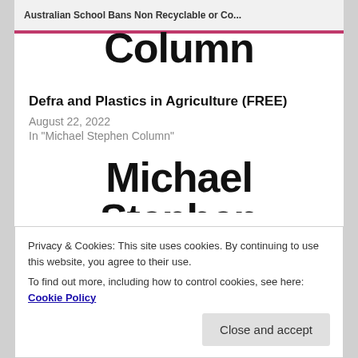Australian School Bans Non Recyclable or Co...
Column
Defra and Plastics in Agriculture (FREE)
August 22, 2022
In "Michael Stephen Column"
Michael Stephen
Privacy & Cookies: This site uses cookies. By continuing to use this website, you agree to their use.
To find out more, including how to control cookies, see here: Cookie Policy
Close and accept
Video, Canada, The Guardian, Food Waste, Recycled